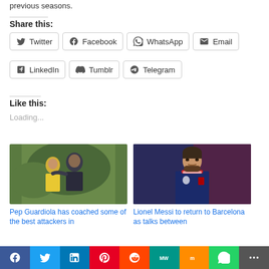previous seasons.
Share this:
Twitter
Facebook
WhatsApp
Email
LinkedIn
Tumblr
Telegram
Like this:
Loading...
[Figure (photo): Pep Guardiola with a player in Barcelona training kit]
Pep Guardiola has coached some of the best attackers in
[Figure (photo): Lionel Messi in PSG dark blue kit]
Lionel Messi to return to Barcelona as talks between
f  Twitter  in  Pinterest  Reddit  MW  Mix  WhatsApp  More